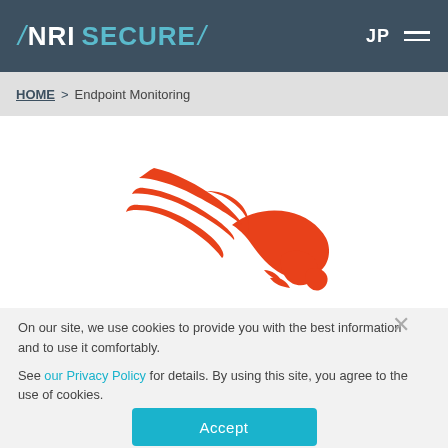/NRI SECURE/ JP ☰
HOME > Endpoint Monitoring
[Figure (logo): CrowdStrike Falcon red bird/hawk logo — stylized raptor swooping right with flame-like tail feathers, in orange-red color]
On our site, we use cookies to provide you with the best information and to use it comfortably.

See our Privacy Policy for details. By using this site, you agree to the use of cookies.
Accept